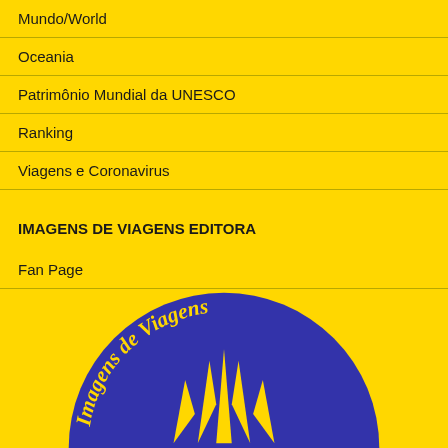Mundo/World
Oceania
Patrimônio Mundial da UNESCO
Ranking
Viagens e Coronavirus
IMAGENS DE VIAGENS EDITORA
Fan Page
[Figure (logo): Imagens de Viagens circular logo — blue circle with yellow text 'Imagens de Viagens' along the arc and yellow lightning bolt / feather shapes in the center, on a yellow background.]